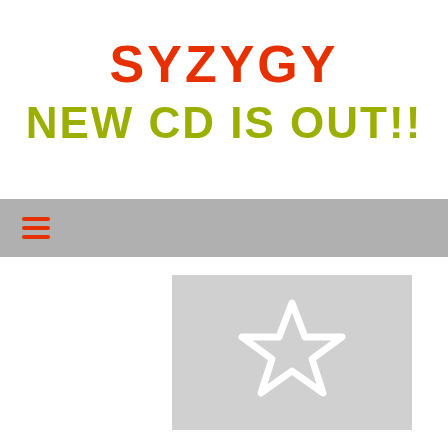SYZYGY
NEW CD IS OUT!!
[Figure (other): Navigation bar with orange hamburger menu icon on grey background]
[Figure (illustration): Light grey placeholder image with a white outlined star shape in the center]